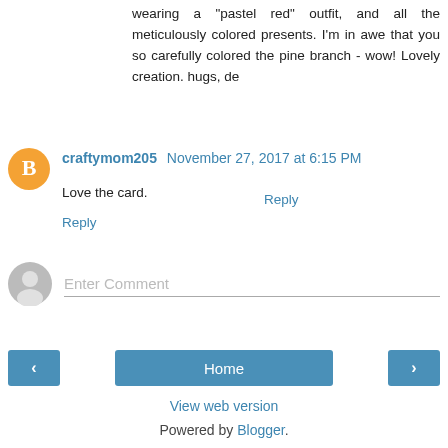wearing a "pastel red" outfit, and all the meticulously colored presents. I'm in awe that you so carefully colored the pine branch - wow! Lovely creation. hugs, de
Reply
craftymom205  November 27, 2017 at 6:15 PM
Love the card.
Reply
[Figure (other): Comment input field with gray default user avatar and placeholder text 'Enter Comment']
[Figure (other): Navigation bar with left arrow button, Home button, and right arrow button]
View web version
Powered by Blogger.